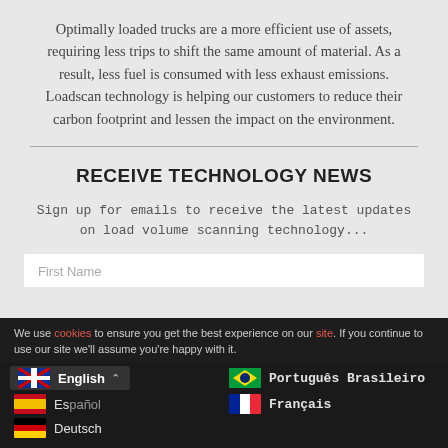Optimally loaded trucks are a more efficient use of assets, requiring less trips to shift the same amount of material. As a result, less fuel is consumed with less exhaust emissions. Loadscan technology is helping our customers to reduce their carbon footprint and lessen the impact on the environment.
RECEIVE TECHNOLOGY NEWS
Sign up for emails to receive the latest updates on load volume scanning technology...
First Name
We use [cookies] to ensure you get the best experience on our [site]. If you continue to use our site we'll assume you're happy with it.
English
Español
Português Brasileiro
Deutsch
Français